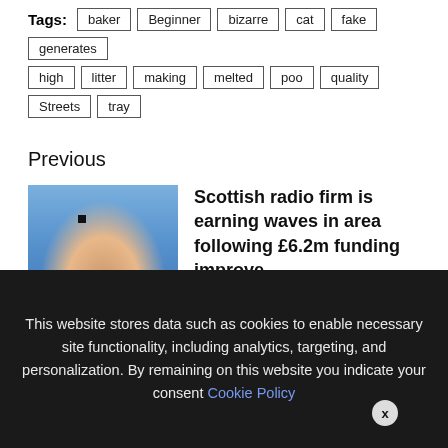Tags: baker  Beginner  bizarre  cat  fake  generates  high  litter  making  melted  poo  quality  Streets  tray
Previous
[Figure (photo): Photo of a fingertip holding a tiny microchip]
Scottish radio firm is earning waves in area following £6.2m funding improve
Next
[Figure (photo): Partial thumbnail image for next article, blue tones]
We use cookies on our website to give you the most relevant experience by remembering your preferences and repeat visits. By clicking "Accept All", you consent to the use of ALL the controlled consent.
This website stores data such as cookies to enable necessary site functionality, including analytics, targeting, and personalization. By remaining on this website you indicate your consent Cookie Policy